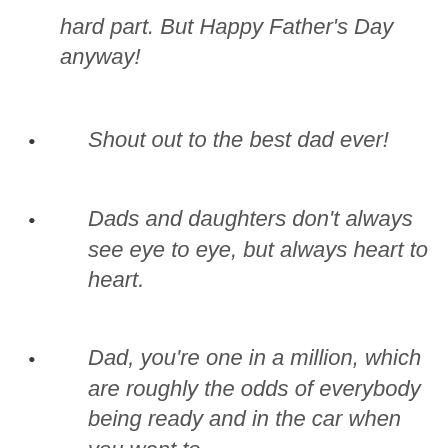hard part. But Happy Father's Day anyway!
Shout out to the best dad ever!
Dads and daughters don't always see eye to eye, but always heart to heart.
Dad, you're one in a million, which are roughly the odds of everybody being ready and in the car when you want to